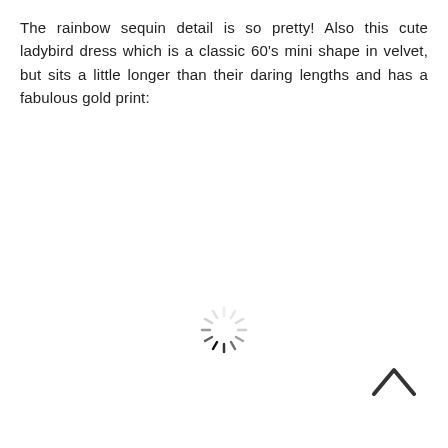The rainbow sequin detail is so pretty! Also this cute ladybird dress which is a classic 60's mini shape in velvet, but sits a little longer than their daring lengths and has a fabulous gold print:
[Figure (other): A loading spinner icon (circular dashed lines arranged in a radial pattern indicating a loading/busy state)]
[Figure (other): An upward-pointing chevron/caret icon (^) used as a scroll-to-top button]